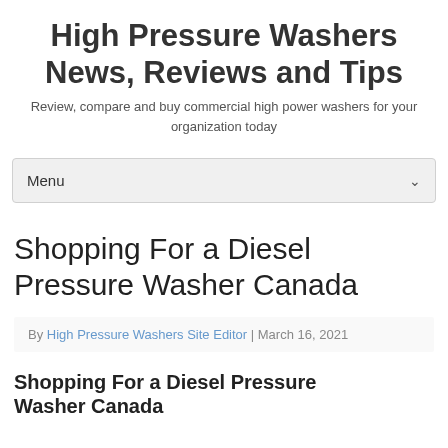High Pressure Washers News, Reviews and Tips
Review, compare and buy commercial high power washers for your organization today
Menu
Shopping For a Diesel Pressure Washer Canada
By High Pressure Washers Site Editor | March 16, 2021
Shopping For a Diesel Pressure Washer Canada